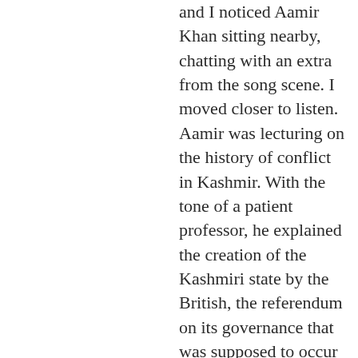and I noticed Aamir Khan sitting nearby, chatting with an extra from the song scene. I moved closer to listen. Aamir was lecturing on the history of conflict in Kashmir. With the tone of a patient professor, he explained the creation of the Kashmiri state by the British, the referendum on its governance that was supposed to occur after Partition but never did, the subsequent wars and unrest. I don't know whether the man he